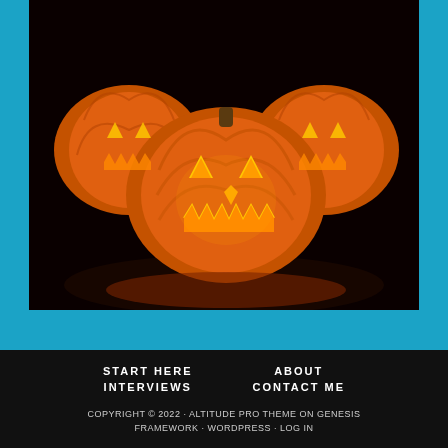[Figure (photo): Three glowing jack-o'-lantern pumpkins with menacing carved faces, illuminated from within with orange and yellow light, against a dark black background. The pumpkins are arranged with one in front and two behind.]
START HERE   ABOUT
INTERVIEWS   CONTACT ME

COPYRIGHT © 2022 · ALTITUDE PRO THEME ON GENESIS FRAMEWORK · WORDPRESS · LOG IN